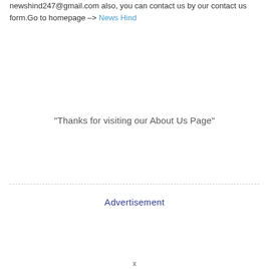newshind247@gmail.com also, you can contact us by our contact us form.Go to homepage –> News Hind
“Thanks for visiting our About Us Page”
Advertisement
x